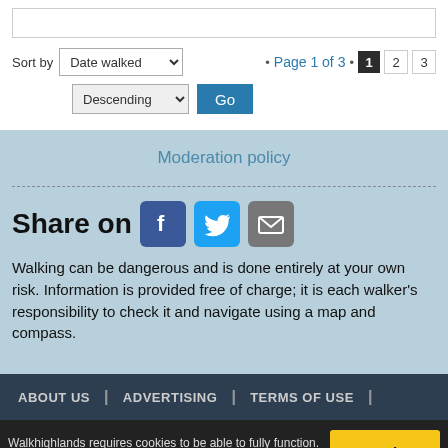Sort by  Date walked  • Page 1 of 3 •  1  2  3  Descending  Go
Moderation policy
Share on
Walking can be dangerous and is done entirely at your own risk. Information is provided free of charge; it is each walker's responsibility to check it and navigate using a map and compass.
ABOUT US  |  ADVERTISING  |  TERMS OF USE  |
Walkhighlands requires cookies to be able to fully function. Read our Privacy Policy  Got it!